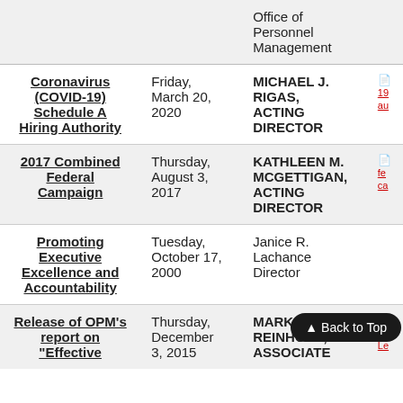| Title | Date | Director/Author | Link |
| --- | --- | --- | --- |
| Office of Personnel Management |  |  |  |
| Coronavirus (COVID-19) Schedule A Hiring Authority | Friday, March 20, 2020 | MICHAEL J. RIGAS, ACTING DIRECTOR | 19... au... |
| 2017 Combined Federal Campaign | Thursday, August 3, 2017 | KATHLEEN M. MCGETTIGAN, ACTING DIRECTOR | fe... ca... |
| Promoting Executive Excellence and Accountability | Tuesday, October 17, 2000 | Janice R. Lachance Director |  |
| Release of OPM's report on "Effective | Thursday, December 3, 2015 | MARK D. REINHOLD, ASSOCIATE | re... Le... |